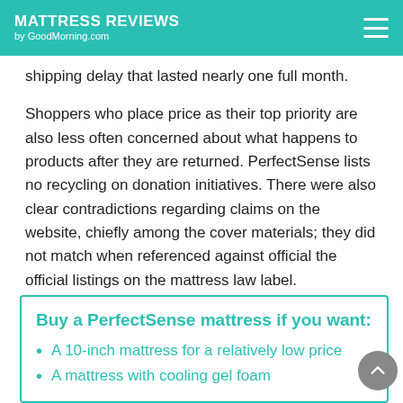MATTRESS REVIEWS by GoodMorning.com
shipping delay that lasted nearly one full month.
Shoppers who place price as their top priority are also less often concerned about what happens to products after they are returned. PerfectSense lists no recycling on donation initiatives. There were also clear contradictions regarding claims on the website, chiefly among the cover materials; they did not match when referenced against official the official listings on the mattress law label.
Buy a PerfectSense mattress if you want:
A 10-inch mattress for a relatively low price
A mattress with cooling gel foam